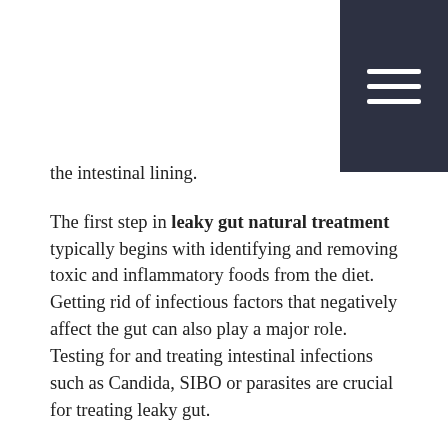the intestinal lining.
The first step in leaky gut natural treatment typically begins with identifying and removing toxic and inflammatory foods from the diet. Getting rid of infectious factors that negatively affect the gut can also play a major role. Testing for and treating intestinal infections such as Candida, SIBO or parasites are crucial for treating leaky gut.
Adding back essential nutrients for digestion such as digestive enzymes, hydrochloric acid (HCL), bile acids and beneficial bacteria (probiotics) can also help promote proper absorption of nutrients as well as a healthy balance of good to bad bacteria in the gut.
There are also many nutrient and botanical remedies that can help the gut to repair itself. One example is L-glutamine, an amino acid that helps rejuvenate the lining of the gut wall. Botanicals such as slippery elm and deglycyrrhizinated licorice (DGL) are just a few examples of herbs that can help reduce